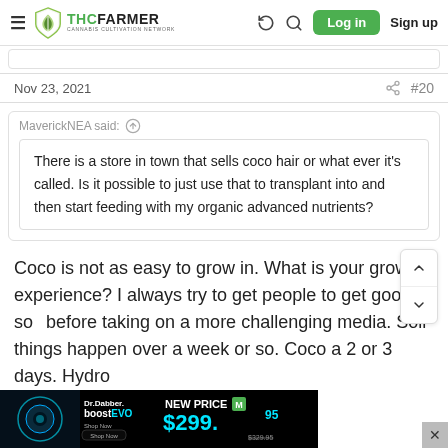THC FARMER — Cannabis Cultivation Network | Log in | Sign up
Nov 23, 2021  #20
MaverickNEA said:
There is a store in town that sells coco hair or what ever it's called. Is it possible to just use that to transplant into and then start feeding with my organic advanced nutrients?
Coco is not as easy to grow in. What is your growing experience? I always try to get people to get good at soil before taking on a more challenging media. Soil things happen over a week or so. Coco a 2 or 3 days. Hydro
[Figure (screenshot): Dr.Dabber boost EVO advertisement banner. NEW PRICE $299.95 (was $329.95). Shop Now button.]